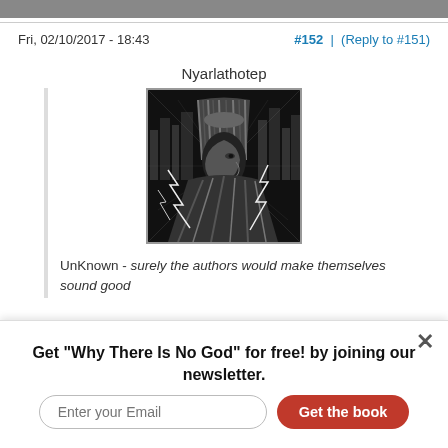Fri, 02/10/2017 - 18:43
#152 | (Reply to #151)
Nyarlathotep
[Figure (illustration): Black and white fantasy illustration of a figure resembling an Egyptian deity with a headdress, lightning bolts, and a cityscape in the background]
UnKnown - surely the authors would make themselves sound good
And AGAIN, you are sneaking back to the idea that the gospels were written by Matthew, Mark, Luke, and John. We
Get "Why There Is No God" for free! by joining our newsletter.
Enter your Email
Get the book